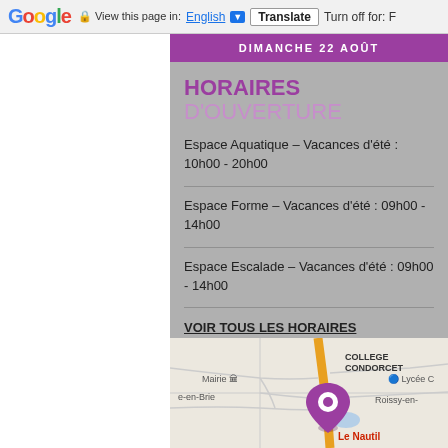Google | View this page in: English | Translate | Turn off for: F
DIMANCHE 22 AOÛT
HORAIRES D'OUVERTURE
Espace Aquatique – Vacances d'été : 10h00 - 20h00
Espace Forme – Vacances d'été : 09h00 - 14h00
Espace Escalade – Vacances d'été : 09h00 - 14h00
VOIR TOUS LES HORAIRES
[Figure (map): Google Maps showing location of Le Nautil near Mairie, COLLEGE CONDORCET, Lycée C, and Roissy-en-Brie, with a purple map pin marker]